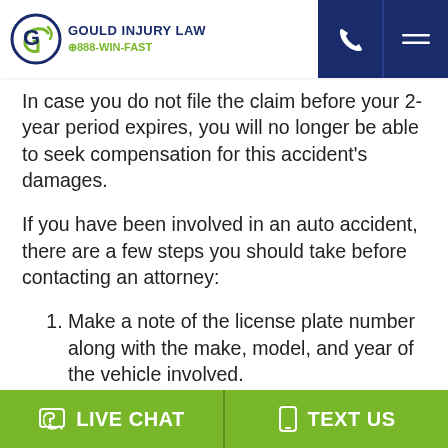GOULD INJURY LAW 888-WIN-FAST
In case you do not file the claim before your 2-year period expires, you will no longer be able to seek compensation for this accident's damages.
If you have been involved in an auto accident, there are a few steps you should take before contacting an attorney:
Make a note of the license plate number along with the make, model, and year of the vehicle involved.
LIVE CHAT  TEXT US